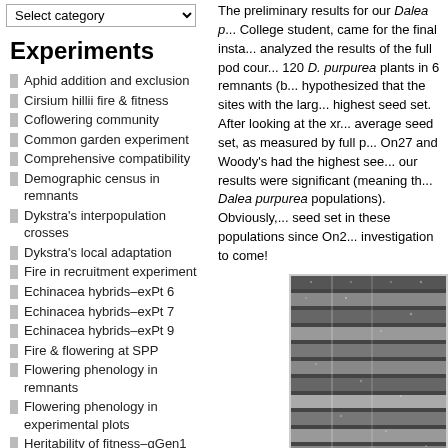Select category (dropdown)
Experiments
Aphid addition and exclusion
Cirsium hillii fire & fitness
Coflowering community
Common garden experiment
Comprehensive compatibility
Demographic census in remnants
Dykstra's interpopulation crosses
Dykstra's local adaptation
Fire in recruitment experiment
Echinacea hybrids–exPt 6
Echinacea hybrids–exPt 7
Echinacea hybrids–exPt 9
Fire & flowering at SPP
Flowering phenology in remnants
Flowering phenology in experimental plots
Heritability of fitness–qGen1
Heritability of fitness–qGen2 & qGen3
Heritability of flowering time
The preliminary results for our Dalea p... College student, came for the final insta... analyzed the results of the full pod cour... 120 D. purpurea plants in 6 remnants (b... hypothesized that the sites with the larg... highest seed set. After looking at the xr... average seed set, as measured by full p... On27 and Woody's had the highest see... our results were significant (meaning th... Dalea purpurea populations). Obviously,... seed set in these populations since On2... investigation to come!
[Figure (photo): Close-up photo of plant specimens or seeds in rows, shown in grayscale.]
Our volunteers have been hard at work...